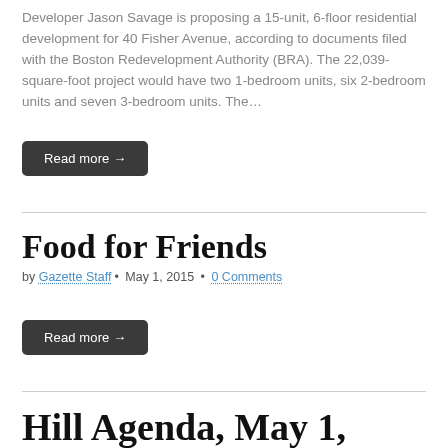Developer Jason Savage is proposing a 15-unit, 6-floor residential development for 40 Fisher Avenue, according to documents filed with the Boston Redevelopment Authority (BRA). The 22,039-square-foot project would have two 1-bedroom units, six 2-bedroom units and seven 3-bedroom units. The…
Read more →
Food for Friends
by Gazette Staff • May 1, 2015 • 0 Comments
Read more →
Hill Agenda, May 1, 2015
by Gazette Staff • May 1, 2015 • 0 Comments